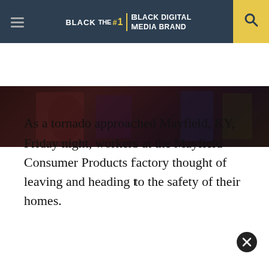BLACK ENTERPRISE THE #1 BLACK DIGITAL MEDIA BRAND
[Figure (photo): Partial view of a dark indoor scene, appears to be people in a dimly lit factory or similar setting]
As a tornado approached Mayfield, KY, Friday night, workers at the Mayfield Consumer Products factory thought of leaving and heading to the safety of their homes.